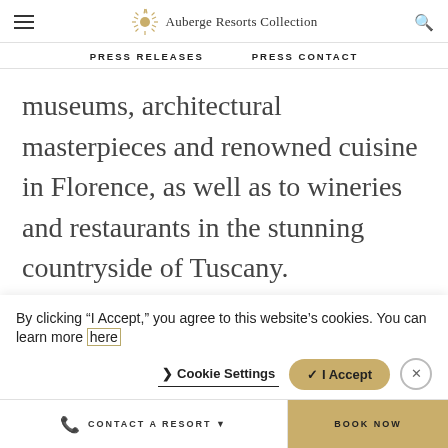Auberge Resorts Collection — PRESS RELEASES | PRESS CONTACT
museums, architectural masterpieces and renowned cuisine in Florence, as well as to wineries and restaurants in the stunning countryside of Tuscany.
“We are tremendously excited to expand our presence in Europe with the addition of
By clicking “I Accept,” you agree to this website’s cookies. You can learn more here
CONTACT A RESORT ▾ | BOOK NOW